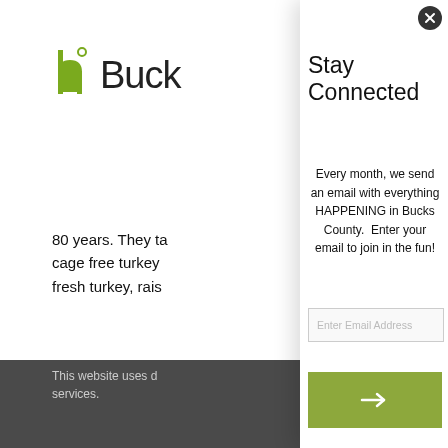[Figure (logo): Hm logo with stylized h and circle, followed by text 'Buck' (truncated by modal)]
80 years. They ta
cage free turkey
fresh turkey, rais
Necessity Farm
202 Green Hill Rd
267-382-0556
necessityfarmsas
www.necessityfc
These turkeys ar
Stay Connected
Every month, we send an email with everything HAPPENING in Bucks County.  Enter your email to join in the fun!
Enter Email Address
This website uses d
services.